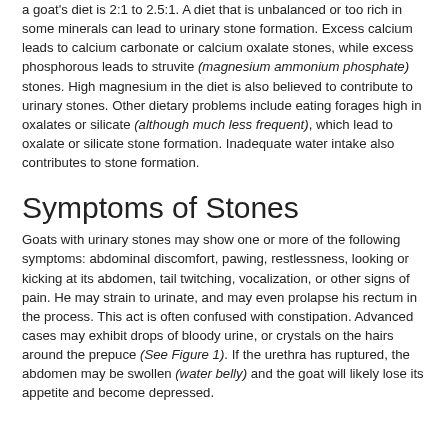a goat's diet is 2:1 to 2.5:1. A diet that is unbalanced or too rich in some minerals can lead to urinary stone formation. Excess calcium leads to calcium carbonate or calcium oxalate stones, while excess phosphorous leads to struvite (magnesium ammonium phosphate) stones. High magnesium in the diet is also believed to contribute to urinary stones. Other dietary problems include eating forages high in oxalates or silicate (although much less frequent), which lead to oxalate or silicate stone formation. Inadequate water intake also contributes to stone formation.
Symptoms of Stones
Goats with urinary stones may show one or more of the following symptoms: abdominal discomfort, pawing, restlessness, looking or kicking at its abdomen, tail twitching, vocalization, or other signs of pain. He may strain to urinate, and may even prolapse his rectum in the process. This act is often confused with constipation. Advanced cases may exhibit drops of bloody urine, or crystals on the hairs around the prepuce (See Figure 1). If the urethra has ruptured, the abdomen may be swollen (water belly) and the goat will likely lose its appetite and become depressed.